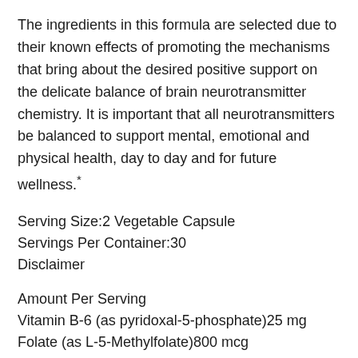The ingredients in this formula are selected due to their known effects of promoting the mechanisms that bring about the desired positive support on the delicate balance of brain neurotransmitter chemistry. It is important that all neurotransmitters be balanced to support mental, emotional and physical health, day to day and for future wellness.*
Serving Size:2 Vegetable Capsule
Servings Per Container:30
Disclaimer
Amount Per Serving
Vitamin B-6 (as pyridoxal-5-phosphate)25 mg
Folate (as L-5-Methylfolate)800 mcg
L-tyrosine800 mg
Quercetin100 mg